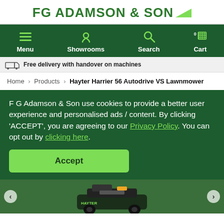FG ADAMSON & SON
[Figure (screenshot): Navigation bar with Menu, Showrooms, Search, and Cart icons on dark green background]
Free delivery with handover on machines
Home > Products > Hayter Harrier 56 Autodrive VS Lawnmower
F G Adamson & Son use cookies to provide a better user experience and personalised ads / content. By clicking 'ACCEPT', you are agreeing to our Privacy Policy. You can opt out by clicking here.
Accept
[Figure (photo): Hayter lawnmower product photo on green background]